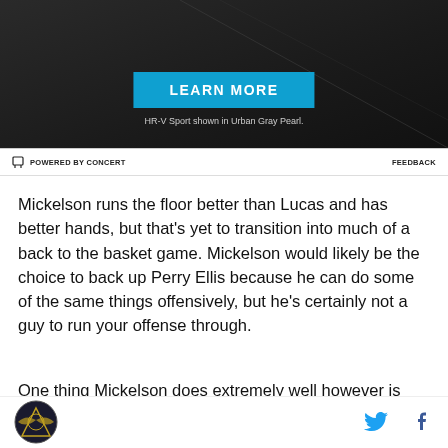[Figure (other): Advertisement banner with dark background showing 'LEARN MORE' button in blue and subtext 'HR-V Sport shown in Urban Gray Pearl.' with 'POWERED BY CONCERT' footer label and 'FEEDBACK' link]
Mickelson runs the floor better than Lucas and has better hands, but that's yet to transition into much of a back to the basket game. Mickelson would likely be the choice to back up Perry Ellis because he can do some of the same things offensively, but he's certainly not a guy to run your offense through.
One thing Mickelson does extremely well however is